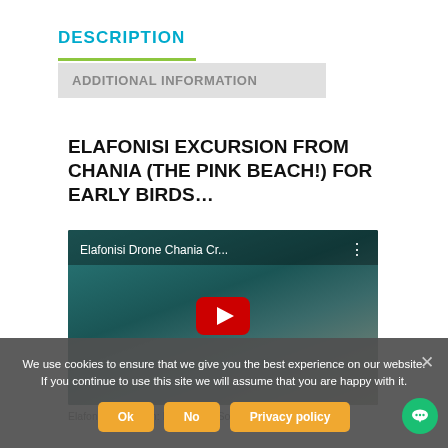DESCRIPTION
ADDITIONAL INFORMATION
ELAFONISI EXCURSION FROM CHANIA (THE PINK BEACH!) FOR EARLY BIRDS…
[Figure (screenshot): YouTube video embed showing 'Elafonisi Drone Chania Cr...' with red play button over teal water background]
Elafonisi Excursion: In the most Southwestern part
We use cookies to ensure that we give you the best experience on our website. If you continue to use this site we will assume that you are happy with it.